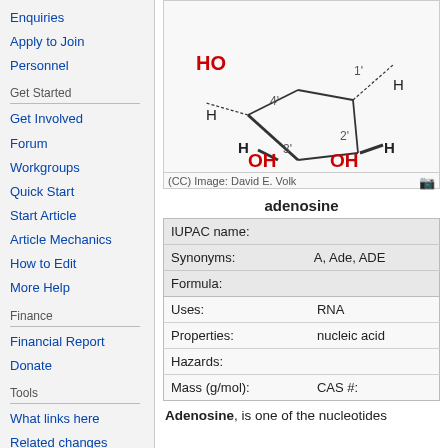Enquiries
Apply to Join
Personnel
Get Started
Get Involved
Forum
Workgroups
Quick Start
Start Article
Article Mechanics
How to Edit
More Help
Finance
Financial Report
Donate
Tools
What links here
Related changes
Special pages
Printable version
[Figure (engineering-diagram): Chemical structure diagram of adenosine (ribose sugar ring) showing OH groups in red, H atoms in dark, carbon positions labeled 1' through 4', with the label 'adenosine' in blue below]
(CC) Image: David E. Volk
adenosine
| IUPAC name: |  |
| Synonyms: | A, Ade, ADE |
| Formula: |  |
| Uses: | RNA |
| Properties: | nucleic acid |
| Hazards: |  |
| Mass (g/mol): | CAS #: |
Adenosine, is one of the nucleotides